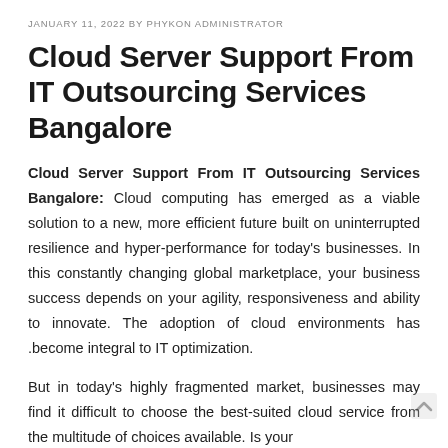JANUARY 11, 2022 BY PHYKON ADMINISTRATOR
Cloud Server Support From IT Outsourcing Services Bangalore
Cloud Server Support From IT Outsourcing Services Bangalore: Cloud computing has emerged as a viable solution to a new, more efficient future built on uninterrupted resilience and hyper-performance for today's businesses. In this constantly changing global marketplace, your business success depends on your agility, responsiveness and ability to innovate. The adoption of cloud environments has .become integral to IT optimization.
But in today's highly fragmented market, businesses may find it difficult to choose the best-suited cloud service from the multitude of choices available. Is your